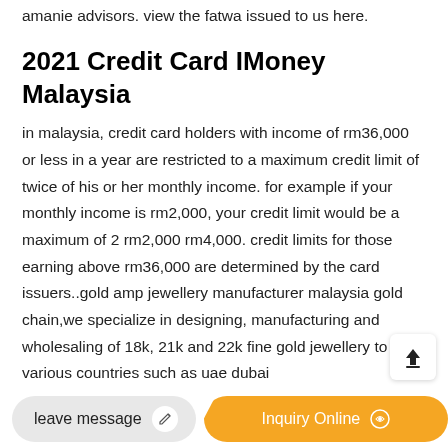amanie advisors. view the fatwa issued to us here.
2021 Credit Card IMoney Malaysia
in malaysia, credit card holders with income of rm36,000 or less in a year are restricted to a maximum credit limit of twice of his or her monthly income. for example if your monthly income is rm2,000, your credit limit would be a maximum of 2 rm2,000 rm4,000. credit limits for those earning above rm36,000 are determined by the card issuers..gold amp jewellery manufacturer malaysia gold chain,we specialize in designing, manufacturing and wholesaling of 18k, 21k and 22k fine gold jewellery to various countries such as uae dubai